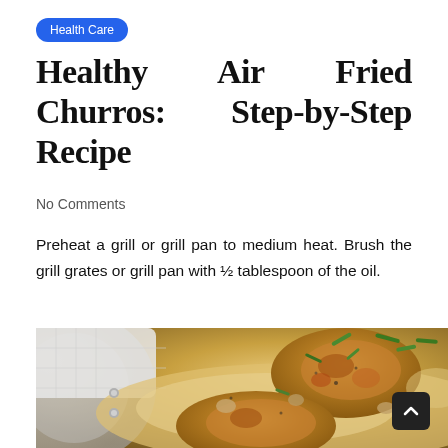Health Care
Healthy Air Fried Churros: Step-by-Step Recipe
No Comments
Preheat a grill or grill pan to medium heat. Brush the grill grates or grill pan with ½ tablespoon of the oil.
[Figure (photo): Close-up photo of cooked chicken pieces in a creamy sauce with mushrooms, garnished with sliced green herbs, served in a silver pan with a white cloth in the background.]